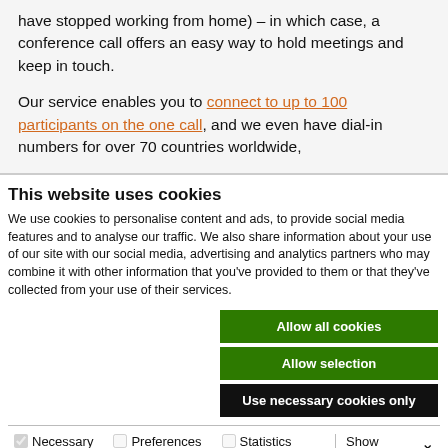have stopped working from home) – in which case, a conference call offers an easy way to hold meetings and keep in touch.
Our service enables you to connect to up to 100 participants on the one call, and we even have dial-in numbers for over 70 countries worldwide,
This website uses cookies
We use cookies to personalise content and ads, to provide social media features and to analyse our traffic. We also share information about your use of our site with our social media, advertising and analytics partners who may combine it with other information that you've provided to them or that they've collected from your use of their services.
Allow all cookies
Allow selection
Use necessary cookies only
Necessary | Preferences | Statistics | Marketing | Show details